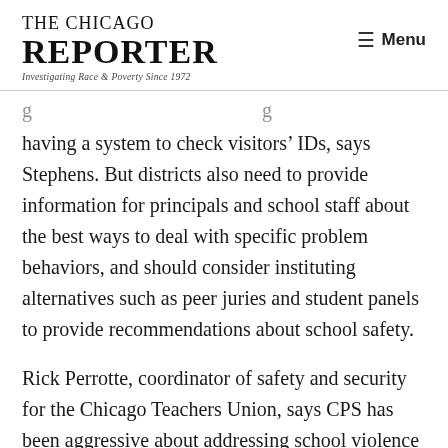THE CHICAGO REPORTER — Investigating Race & Poverty Since 1972
having a system to check visitors’ IDs, says Stephens. But districts also need to provide information for principals and school staff about the best ways to deal with specific problem behaviors, and should consider instituting alternatives such as peer juries and student panels to provide recommendations about school safety.
Rick Perrotte, coordinator of safety and security for the Chicago Teachers Union, says CPS has been aggressive about addressing school violence but is sometimes stymied by principals who don’t report violations of the